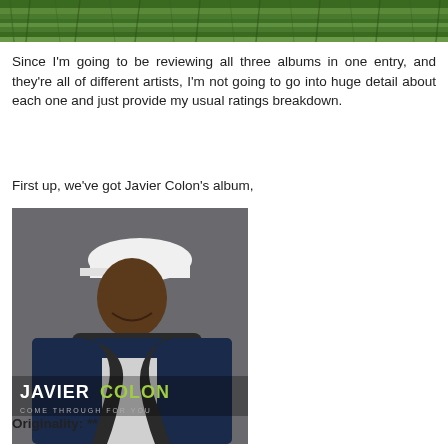[Figure (photo): Top strip of green grass/foliage photo]
Since I'm going to be reviewing all three albums in one entry, and they're all of different artists, I'm not going to go into huge detail about each one and just provide my usual ratings breakdown.
First up, we've got Javier Colon's album,
[Figure (photo): Album cover photo of Javier Colon wearing a white cap, dark scarf and leather jacket, smiling. Text reads 'JAVIER COLON' and 'COME THROUGH FOR YOU']
Originality: **